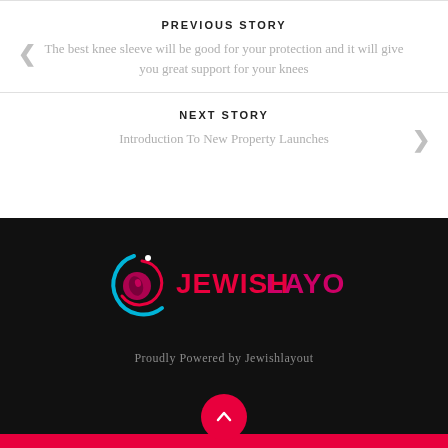PREVIOUS STORY
The best knee sleeve will be good for your protection and it will give you great support for your knees
NEXT STORY
Introduction To New Property Launches
[Figure (logo): Jewishlayout logo with circular pink/cyan swirl icon and JEWISHLAYOUT text in pink on black background]
Proudly Powered by Jewishlayout